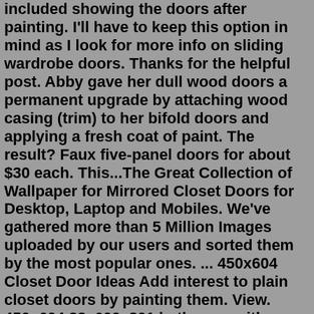included showing the doors after painting. I'll have to keep this option in mind as I look for more info on sliding wardrobe doors. Thanks for the helpful post. Abby gave her dull wood doors a permanent upgrade by attaching wood casing (trim) to her bifold doors and applying a fresh coat of paint. The result? Faux five-panel doors for about $30 each. This...The Great Collection of Wallpaper for Mirrored Closet Doors for Desktop, Laptop and Mobiles. We've gathered more than 5 Million Images uploaded by our users and sorted them by the most popular ones. ... 450x604 Closet Door Ideas Add interest to plain closet doors by painting them. View. 450×604 33. 600x801 bathroom with mirrored closets ...1. remove the old doors and the old closet track and any extra molding inside the door frame. 1a. prep the top of the door to accommodate the new doors. Once I took out the old molding, I had to put in a "filler piece" to lower the top of the doorframe to be level with the door molding at the top. I used a thin piece of 1×4, cut to fit the ...There are a few ways to cover mirrored wardrobe